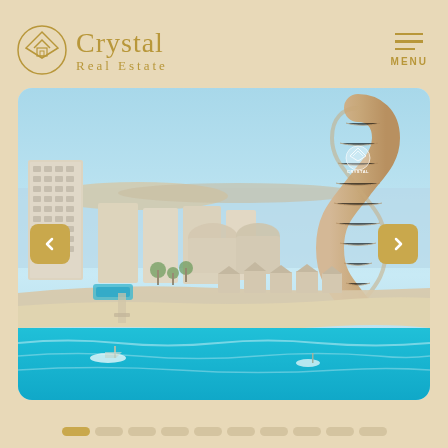[Figure (logo): Crystal Real Estate logo with geometric house/diamond SVG icon and text]
Crystal Real Estate
[Figure (other): Menu hamburger icon with three horizontal lines and MENU text below]
[Figure (photo): Aerial view of a luxury coastal real estate development with modern towers, residential buildings, waterfront promenade, beach, and turquoise sea. Crystal logo watermark visible on right tower.]
[Figure (other): Slideshow navigation dots — first dot is gold/active, remaining 9 dots are light beige]